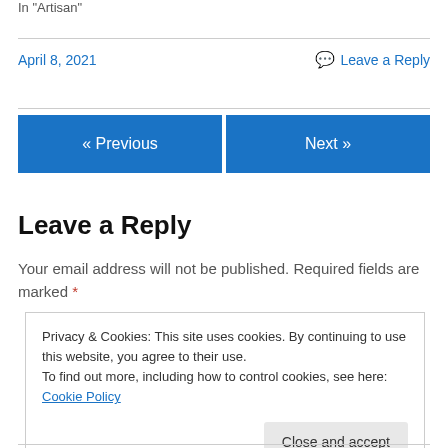In "Artisan"
April 8, 2021
💬 Leave a Reply
« Previous
Next »
Leave a Reply
Your email address will not be published. Required fields are marked *
Privacy & Cookies: This site uses cookies. By continuing to use this website, you agree to their use. To find out more, including how to control cookies, see here: Cookie Policy
Close and accept